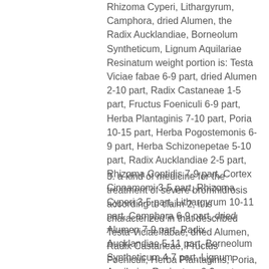Rhizoma Cyperi, Lithargyrum, Camphora, dried Alumen, the Radix Aucklandiae, Borneolum Syntheticum, Lignum Aquilariae Resinatum weight portion is: Testa Viciae fabae 6-9 part, dried Alumen 2-10 part, Radix Castaneae 1-5 part, Fructus Foeniculi 6-9 part, Herba Plantaginis 7-10 part, Poria 10-15 part, Herba Pogostemonis 6-9 part, Herba Schizonepetae 5-10 part, Radix Aucklandiae 2-5 part, Rhizoma Coptidis 7-9 part, Cortex Cinnamomi 3-5 part, Rhizoma Cyperi 3-5 part, Lithargyrum 10-11 part, Camphora 6-9 part, dried Alumen 7-9 part, Radix Aucklandiae 5-11 part, Borneolum Syntheticum 4-7 part, Lignum Aquilariae Resinatum 6-9 part.
3. a kind of medicine for the treatment of severe bromhidrosis according to claim 2, it is characterized in that described Testa Viciae fabae, dried Alumen, Radix Castaneae, Fructus Foeniculi, Herba Plantaginis, Poria, Herba Pogostemonis, Herba Schizonepetae, the Radix Aucklandiae, Rhizoma Coptidis, Cortex Cinnamomi, Rhizoma Cyperi, Lithargyrum, Camphora, dried Alumen, the Radix Aucklandiae, Borneolum Syntheticum, Lignum Aquilariae Resinatum weight portion is: Testa Viciae fabae 8 parts, dried Alumen 6 parts, Radix Castaneae 3 parts, 7 parts, Fructus Foeniculi, Herba Plantaginis 8 parts, Poria 10